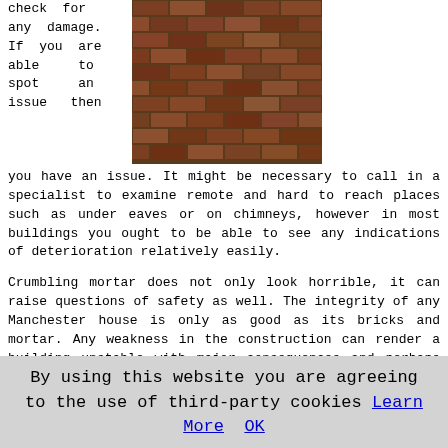check for any damage. If you are able to spot an issue then
[Figure (photo): Close-up photograph of old red brick wall showing aged and weathered bricks with mortar joints]
you have an issue. It might be necessary to call in a specialist to examine remote and hard to reach places such as under eaves or on chimneys, however in most buildings you ought to be able to see any indications of deterioration relatively easily.
Crumbling mortar does not only look horrible, it can raise questions of safety as well. The integrity of any Manchester house is only as good as its bricks and mortar. Any weakness in the construction can render a building unstable with major consequences and perhaps even a risk to the life of inhabitants.
If your mortar has been neglected through the years, or you're restoring an older property in Manchester, you might also need to replace brickwork that has been weakened or damaged. Any defective bricks identified during the inspection by the repointing contractor will be replaced or
By using this website you are agreeing to the use of third-party cookies Learn More OK